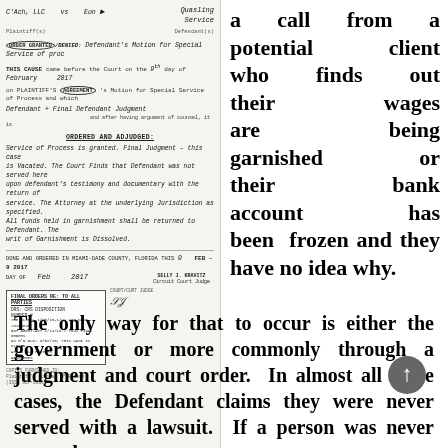[Figure (photo): Scanned court document from Miami-Dade County, Florida. Shows a handwritten court order granting/denying defendant's motion for service. Dated February 9, 2017. Signed by Circuit Court Judge Selly J. Kravitz. Includes stamp box with final orders distribution notice. Case involves Plaintiff (C'Ach LLC) vs Defendant (Eon). Order concerns service of process on First Defendant.]
a call from a potential client who finds out their wages are being garnished or their bank account has been frozen and they have no idea why.
The only way for that to occur is either the government or more commonly through a judgment and court order. In almost all these cases, the Defendant claims they were never served with a lawsuit. If a person was never properly